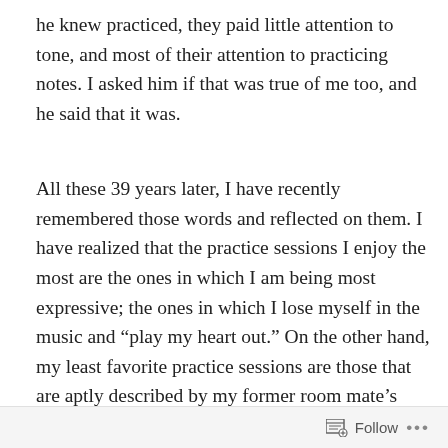he knew practiced, they paid little attention to tone, and most of their attention to practicing notes. I asked him if that was true of me too, and he said that it was.
All these 39 years later, I have recently remembered those words and reflected on them. I have realized that the practice sessions I enjoy the most are the ones in which I am being most expressive; the ones in which I lose myself in the music and “play my heart out.” On the other hand, my least favorite practice sessions are those that are aptly described by my former room mate’s words; the ones in which I am merely practicing notes, drilling myself over and over until I play a passage with the correct notes. Of course, this kind of attention to right notes is necessary, but it is a temporary departure from what should be the
Follow …